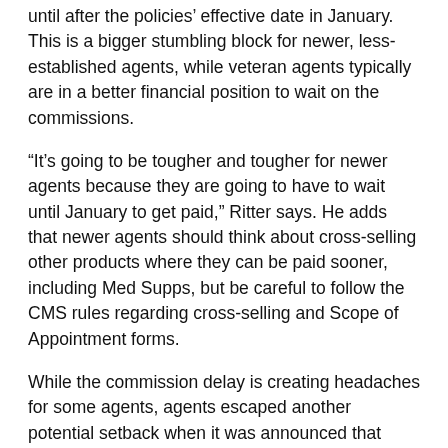until after the policies' effective date in January. This is a bigger stumbling block for newer, less-established agents, while veteran agents typically are in a better financial position to wait on the commissions.
“It’s going to be tougher and tougher for newer agents because they are going to have to wait until January to get paid,” Ritter says. He adds that newer agents should think about cross-selling other products where they can be paid sooner, including Med Supps, but be careful to follow the CMS rules regarding cross-selling and Scope of Appointment forms.
While the commission delay is creating headaches for some agents, agents escaped another potential setback when it was announced that Medicare Advantage (MA) and Prescription Drug Plan (PDP) can continue to pay 50% on renewals, and not the 35% that CMS was proposing.